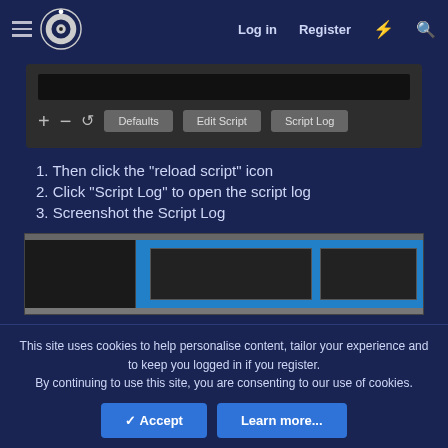Log in  Register
[Figure (screenshot): OBS script panel showing a dark toolbar with +, -, reload icons and buttons: Defaults, Edit Script, Script Log]
1. Then click the "reload script" icon
2. Click "Script Log" to open the script log
3. Screenshot the Script Log
[Figure (screenshot): Screenshot showing OBS Studio interface with blue background and two dark windows open]
This site uses cookies to help personalise content, tailor your experience and to keep you logged in if you register.
By continuing to use this site, you are consenting to our use of cookies.
Accept  Learn more...